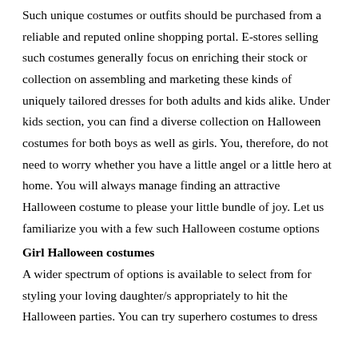Such unique costumes or outfits should be purchased from a reliable and reputed online shopping portal. E-stores selling such costumes generally focus on enriching their stock or collection on assembling and marketing these kinds of uniquely tailored dresses for both adults and kids alike. Under kids section, you can find a diverse collection on Halloween costumes for both boys as well as girls. You, therefore, do not need to worry whether you have a little angel or a little hero at home. You will always manage finding an attractive Halloween costume to please your little bundle of joy. Let us familiarize you with a few such Halloween costume options
Girl Halloween costumes
A wider spectrum of options is available to select from for styling your loving daughter/s appropriately to hit the Halloween parties. You can try superhero costumes to dress